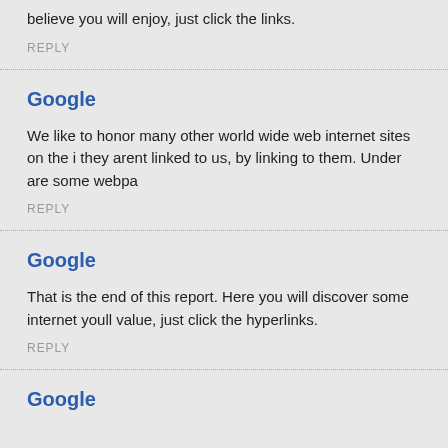believe you will enjoy, just click the links.
REPLY
Google
We like to honor many other world wide web internet sites on the i they arent linked to us, by linking to them. Under are some webpa
REPLY
Google
That is the end of this report. Here you will discover some internet youll value, just click the hyperlinks.
REPLY
Google